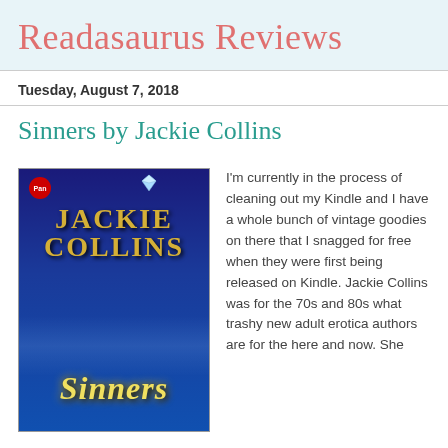Readasaurus Reviews
Tuesday, August 7, 2018
Sinners by Jackie Collins
[Figure (illustration): Book cover of 'Sinners' by Jackie Collins. Dark blue background with gold metallic lettering reading JACKIE COLLINS at the top, and stylized italic yellow text reading 'Sinners' at the bottom. A small red Pan publisher logo is in the top left corner.]
I'm currently in the process of cleaning out my Kindle and I have a whole bunch of vintage goodies on there that I snagged for free when they were first being released on Kindle. Jackie Collins was for the 70s and 80s what trashy new adult erotica authors are for the here and now. She